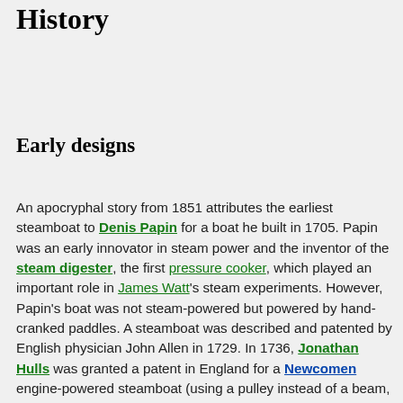History
Early designs
An apocryphal story from 1851 attributes the earliest steamboat to Denis Papin for a boat he built in 1705. Papin was an early innovator in steam power and the inventor of the steam digester, the first pressure cooker, which played an important role in James Watt's steam experiments. However, Papin's boat was not steam-powered but powered by hand-cranked paddles. A steamboat was described and patented by English physician John Allen in 1729. In 1736, Jonathan Hulls was granted a patent in England for a Newcomen engine-powered steamboat (using a pulley instead of a beam, and a pawl and ratchet to obtain rotary motion), but it was the improvement in steam engines by James Watt that made the concept feasible. William Henry of Lancaster, Pennsylvania, having learned of Watt's engine on a visit to England, made his own engine. In 1763 he put it in a boat. The